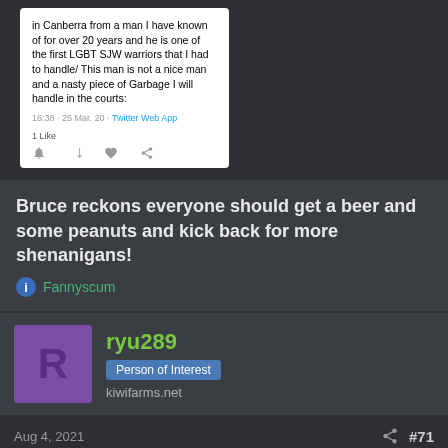[Figure (screenshot): Screenshot of a tweet showing text about Canberra, LGBT SJW warriors, and court handling. Dated 16:38 · 25 Mar. 20 via Twitter Web App. Shows 1 Like and action icons.]
Bruce reckons everyone should get a beer and some peanuts and kick back for more shenanigans!
Fannyscum
ryu289
Person of Interest
kiwifarms.net
Aug 4, 2021
#71
Say, as I recall, Luke Mckee might have a criminal record. Can we get it?